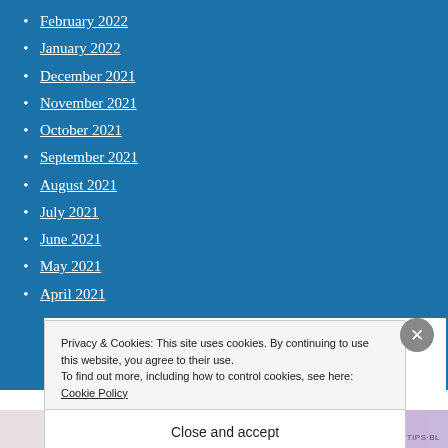February 2022
January 2022
December 2021
November 2021
October 2021
September 2021
August 2021
July 2021
June 2021
May 2021
April 2021
Privacy & Cookies: This site uses cookies. By continuing to use this website, you agree to their use. To find out more, including how to control cookies, see here: Cookie Policy
Close and accept